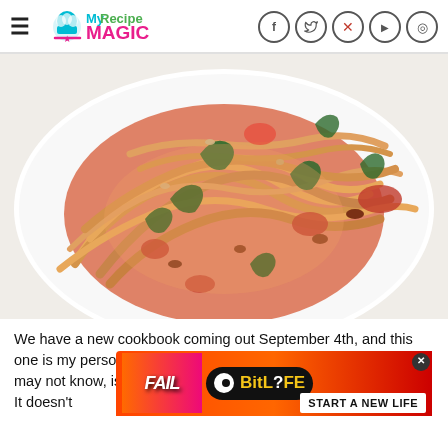My Recipe Magic — navigation header with social icons (Facebook, Twitter, Pinterest, YouTube, Instagram)
[Figure (photo): Close-up photo of a plate of fettuccine pasta with tomato sauce, wilted spinach leaves, and ground meat on a white plate]
We have a new cookbook coming out September 4th, and this one is my personal favorite. Something about us Sisters' that you may not know, is we love going to restaurants and being waited on. It doesn't matter to eat good f…
[Figure (other): BitLife advertisement banner with 'FAIL' text, animated character, flame graphics, and 'START A NEW LIFE' call to action on red background]